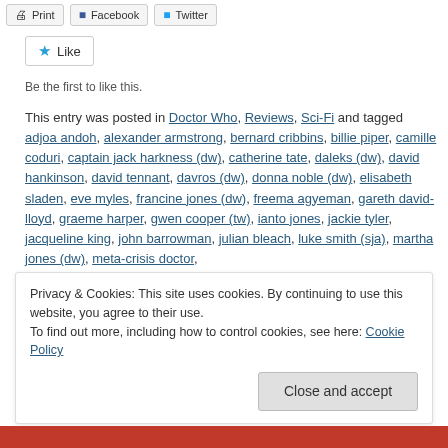Print | Facebook | Twitter
Like
Be the first to like this.
This entry was posted in Doctor Who, Reviews, Sci-Fi and tagged adjoa andoh, alexander armstrong, bernard cribbins, billie piper, camille coduri, captain jack harkness (dw), catherine tate, daleks (dw), david hankinson, david tennant, davros (dw), donna noble (dw), elisabeth sladen, eve myles, francine jones (dw), freema agyeman, gareth david-lloyd, graeme harper, gwen cooper (tw), ianto jones, jackie tyler, jacqueline king, john barrowman, julian bleach, luke smith (sja), martha jones (dw), meta-crisis doctor,
Privacy & Cookies: This site uses cookies. By continuing to use this website, you agree to their use.
To find out more, including how to control cookies, see here: Cookie Policy
Close and accept